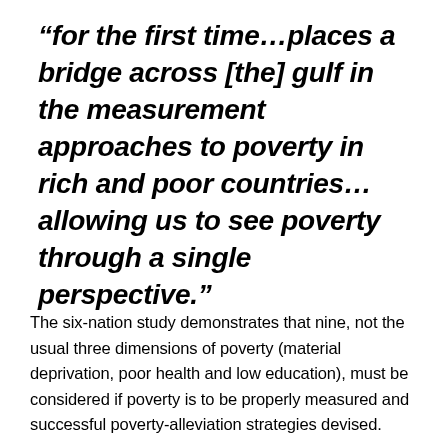“for the first time…places a bridge across [the] gulf in the measurement approaches to poverty in rich and poor countries…allowing us to see poverty through a single perspective.”
The six-nation study demonstrates that nine, not the usual three dimensions of poverty (material deprivation, poor health and low education), must be considered if poverty is to be properly measured and successful poverty-alleviation strategies devised.